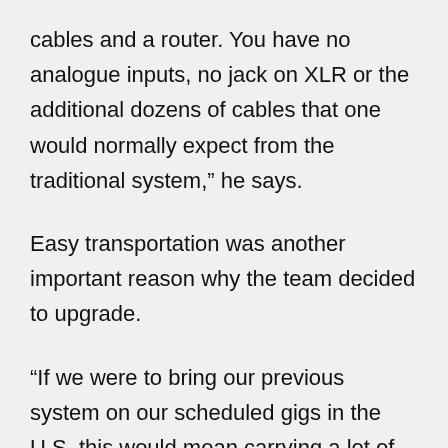cables and a router. You have no analogue inputs, no jack on XLR or the additional dozens of cables that one would normally expect from the traditional system,” he says.
Easy transportation was another important reason why the team decided to upgrade.
“If we were to bring our previous system on our scheduled gigs in the U.S. this would mean carrying a lot of extra gear and additional manpower, whilst with the new system we could go on tour just with a 2U rack, a router and two BNC connectors. And all this is very easy to set up,” Ronolochino exclaims.